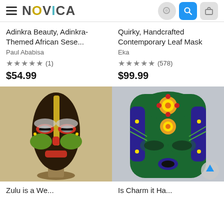NOVICA
Adinkra Beauty, Adinkra-Themed African Sese...
Paul Ababisa
★★★★★ (1)
$54.99
Quirky, Handcrafted Contemporary Leaf Mask
Eka
★★★★★ (578)
$99.99
[Figure (photo): African mask sculpture with colorful painted designs, elongated oval shape with gold stripe, on small stand]
[Figure (photo): Green and blue decorative Aztec/Mexican style mask with floral and geometric patterns]
Zulu is a We...
Is Charm it Ha...